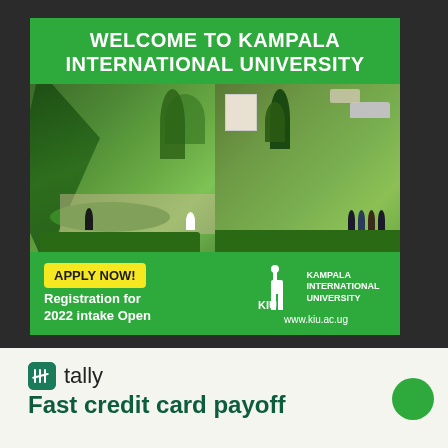[Figure (illustration): Kampala International University advertisement banner showing campus photos with students and greenery, green header and footer bars with logo]
WELCOME TO KAMPALA INTERNATIONAL UNIVERSITY
APPLY NOW! Registration for 2022 intake Open
KIU KAMPALA INTERNATIONAL UNIVERSITY www.kiu.ac.ug
[Figure (logo): Tally app logo with green rounded square icon showing tally marks and the word 'tally']
Fast credit card payoff